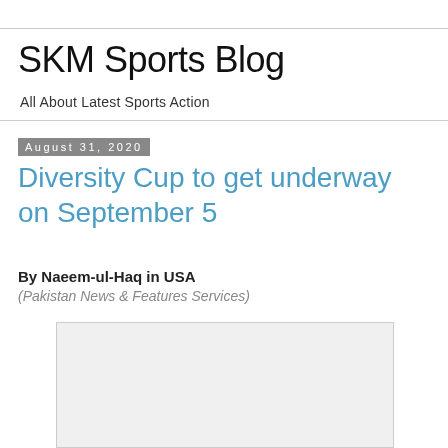SKM Sports Blog
All About Latest Sports Action
August 31, 2020
Diversity Cup to get underway on September 5
By Naeem-ul-Haq in USA
(Pakistan News & Features Services)
[Figure (photo): Image placeholder, light gray background with border]